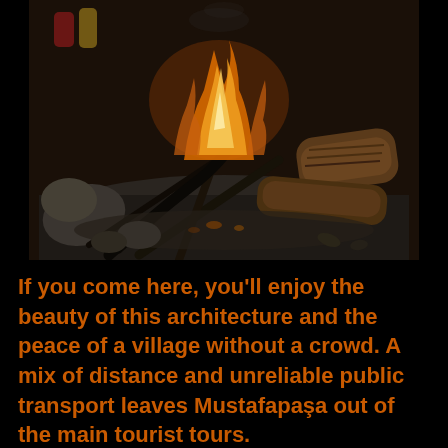[Figure (photo): A close-up photo of a campfire with burning logs and branches on a dark stone or ash surface. Flames are visible in the upper center, with rocks and logs arranged around the fire. The background is dark.]
If you come here, you'll enjoy the beauty of this architecture and the peace of a village without a crowd. A mix of distance and unreliable public transport leaves Mustafapaşa out of the main tourist tours.